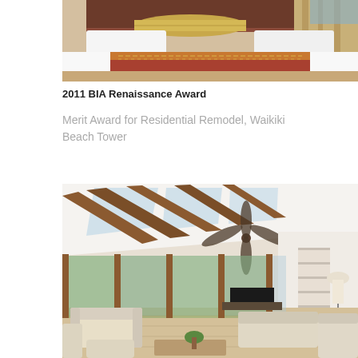[Figure (photo): Hotel bedroom with white bedding, a terracotta and gold decorative runner across the bed, and a bolster pillow at the headboard.]
2011 BIA Renaissance Award
Merit Award for Residential Remodel, Waikiki Beach Tower
[Figure (photo): Bright living room interior with vaulted ceiling, exposed wooden beams, skylights, ceiling fan, large glass sliding doors, and cream upholstered furniture on light hardwood floors.]